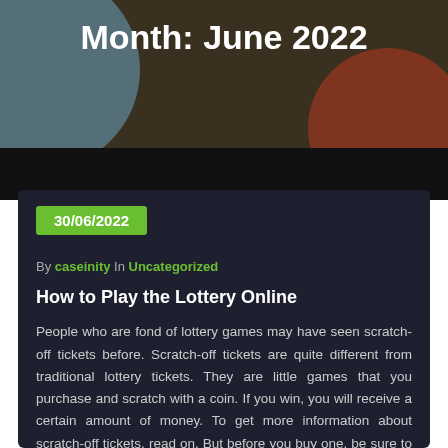Month: June 2022
30/06/2022
By caseinity In Uncategorized
How to Play the Lottery Online
People who are fond of lottery games may have seen scratch-off tickets before. Scratch-off tickets are quite different from traditional lottery tickets. They are little games that you purchase and scratch with a coin. If you win, you will receive a certain amount of money. To get more information about scratch-off tickets, read on. But before you buy one, be sure to read this article. We've outlined